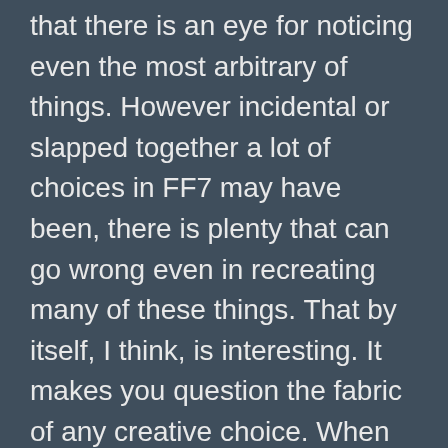that there is an eye for noticing even the most arbitrary of things. However incidental or slapped together a lot of choices in FF7 may have been, there is plenty that can go wrong even in recreating many of these things. That by itself, I think, is interesting. It makes you question the fabric of any creative choice. When things get more subjective on how best to interpret and handle things, a back and forth conversation tends to happen. You see, FF7 was made by humans, for humans, and you can't really “port” that.
However, being on the frontier of remaking a beloved franchise without any money or credit for originality might not be too liberating for most